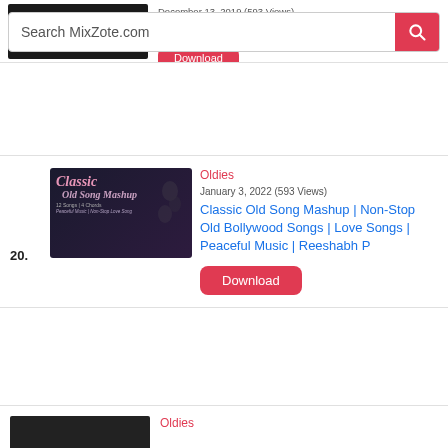Search MixZote.com
December 13, 2019 (593 Views)
Jams
Download
Oldies
January 3, 2022 (593 Views)
Classic Old Song Mashup | Non-Stop Old Bollywood Songs | Love Songs | Peaceful Music | Reeshabh P
Download
Oldies